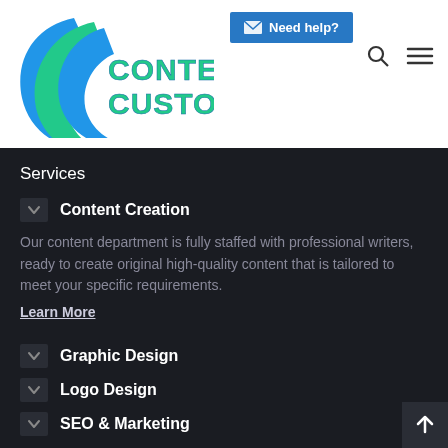[Figure (logo): Content Customs logo with blue and green circular swirl design and bold text 'CONTENT CUSTOMS']
[Figure (other): Blue 'Need help?' button with envelope icon]
[Figure (other): Search magnifier icon and hamburger menu icon in top right]
Services
Content Creation
Our content department is fully staffed with professional writers, ready to create original high-quality content that is tailored to meet your specific requirements.
Learn More
Graphic Design
Logo Design
SEO & Marketing